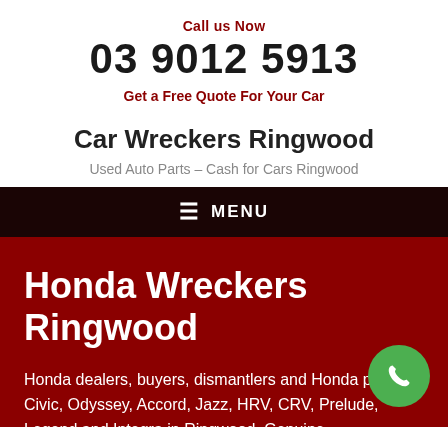Call us Now
03 9012 5913
Get a Free Quote For Your Car
Car Wreckers Ringwood
Used Auto Parts – Cash for Cars Ringwood
MENU
Honda Wreckers Ringwood
Honda dealers, buyers, dismantlers and Honda parts for Civic, Odyssey, Accord, Jazz, HRV, CRV, Prelude, Legend and Integra in Ringwood. Genuine